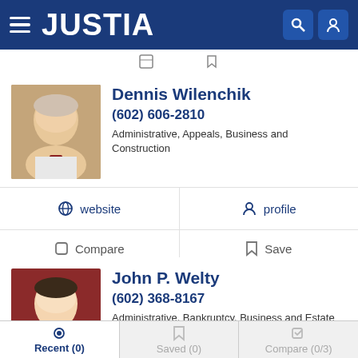JUSTIA
Dennis Wilenchik
(602) 606-2810
Administrative, Appeals, Business and Construction
website  profile  Compare  Save
John P. Welty
(602) 368-8167
Administrative, Bankruptcy, Business and Estate Planning
website  profile  email
Recent (0)  Saved (0)  Compare (0/3)